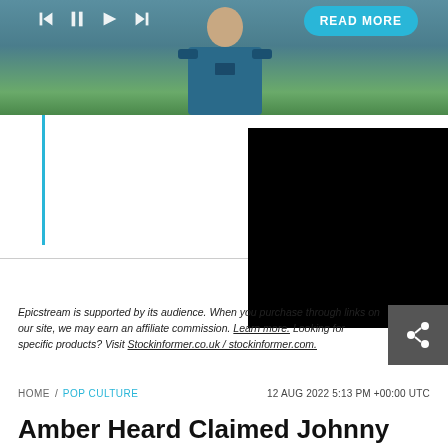[Figure (screenshot): Top portion showing a person in a blue police/military uniform with media player controls (skip back, pause, forward, skip forward icons) overlaid in white, a cyan READ MORE button in the top right, and a green outdoor background]
Epicstream is supported by its audience. When you purchase through links on our site, we may earn an affiliate commission. Learn more. Looking for specific products? Visit Stockinformer.co.uk / stockinformer.com.
HOME / POP CULTURE   12 AUG 2022 5:13 PM +00:00 UTC
Amber Heard Claimed Johnny